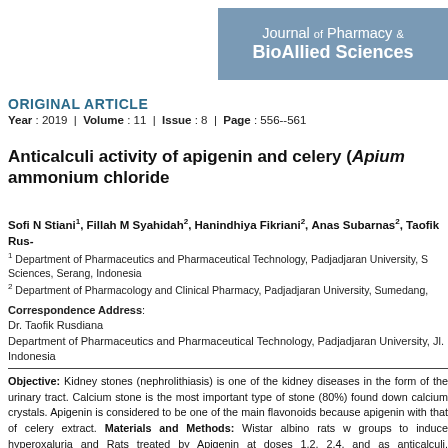[Figure (logo): Journal of Pharmacy & BioAllied Sciences logo — grey-blue rectangle with white text]
ORIGINAL ARTICLE
Year : 2019  |  Volume : 11  |  Issue : 8  |  Page : 556--561
Anticalculi activity of apigenin and celery (Apium... ammonium chloride
Sofi N Stiani1, Fillah M Syahidah2, Hanindhiya Fikriani2, Anas Subarnas2, Taofik Rus-
1 Department of Pharmaceutics and Pharmaceutical Technology, Padjadjaran University, S... Sciences, Serang, Indonesia
2 Department of Pharmacology and Clinical Pharmacy, Padjadjaran University, Sumedang,...
Correspondence Address:
Dr. Taofik Rusdiana
Department of Pharmaceutics and Pharmaceutical Technology, Padjadjaran University, Jl. ...
Indonesia
Objective: Kidney stones (nephrolithiasis) is one of the kidney diseases in the form of the urinary tract. Calcium stone is the most important type of stone (80%) found down calcium crystals. Apigenin is considered to be one of the main flavonoids because apigenin with that of celery extract. Materials and Methods: Wistar albino rats w groups to induce hyperoxaluria and Rats treated by Apigenin at doses 1.2, 2.4, and as anticalculi. Measurements of calcium levels in the kidneys and urine of rats was SPSS by ANOVA Method version 21.0 probability value < 0.05 was considered s